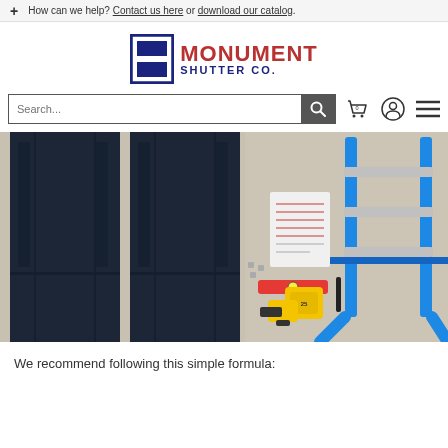How can we help? Contact us here or download our catalog.
[Figure (logo): Monument Shutter Co. logo with blue square icon and red MONUMENT text]
[Figure (screenshot): Search bar with magnifying glass icon, cart icon showing 0, user account icon, and hamburger menu icon]
[Figure (photo): Photo of dark navy blue shutters laid flat on concrete floor alongside a blue ladder, drill, tape measure, level, and installation hardware/templates]
We recommend following this simple formula: